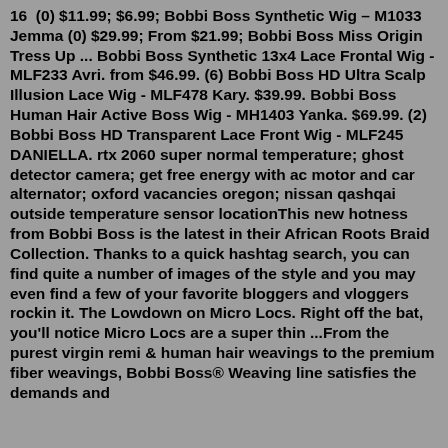16 (0) $11.99; $6.99; Bobbi Boss Synthetic Wig – M1033 Jemma (0) $29.99; From $21.99; Bobbi Boss Miss Origin Tress Up ... Bobbi Boss Synthetic 13x4 Lace Frontal Wig - MLF233 Avri. from $46.99. (6) Bobbi Boss HD Ultra Scalp Illusion Lace Wig - MLF478 Kary. $39.99. Bobbi Boss Human Hair Active Boss Wig - MH1403 Yanka. $69.99. (2) Bobbi Boss HD Transparent Lace Front Wig - MLF245 DANIELLA. rtx 2060 super normal temperature; ghost detector camera; get free energy with ac motor and car alternator; oxford vacancies oregon; nissan qashqai outside temperature sensor locationThis new hotness from Bobbi Boss is the latest in their African Roots Braid Collection. Thanks to a quick hashtag search, you can find quite a number of images of the style and you may even find a few of your favorite bloggers and vloggers rockin it. The Lowdown on Micro Locs. Right off the bat, you'll notice Micro Locs are a super thin ...From the purest virgin remi & human hair weavings to the premium fiber weavings, Bobbi Boss® Weaving line satisfies the demands and